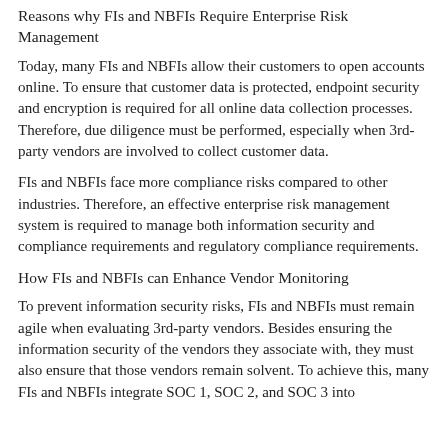Reasons why FIs and NBFIs Require Enterprise Risk Management
Today, many FIs and NBFIs allow their customers to open accounts online. To ensure that customer data is protected, endpoint security and encryption is required for all online data collection processes. Therefore, due diligence must be performed, especially when 3rd-party vendors are involved to collect customer data.
FIs and NBFIs face more compliance risks compared to other industries. Therefore, an effective enterprise risk management system is required to manage both information security and compliance requirements and regulatory compliance requirements.
How FIs and NBFIs can Enhance Vendor Monitoring
To prevent information security risks, FIs and NBFIs must remain agile when evaluating 3rd-party vendors. Besides ensuring the information security of the vendors they associate with, they must also ensure that those vendors remain solvent. To achieve this, many FIs and NBFIs integrate SOC 1, SOC 2, and SOC 3 into